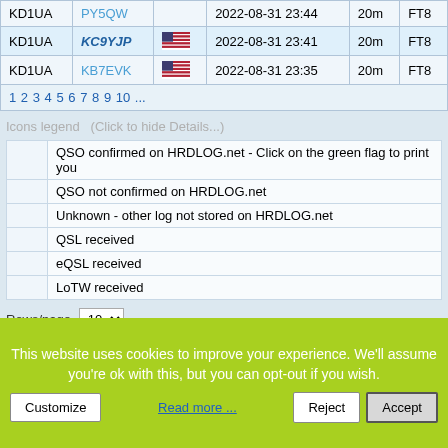|  | Callsign | Flag | Date/Time | Band | Mode |
| --- | --- | --- | --- | --- | --- |
| KD1UA | PY5QW |  | 2022-08-31 23:44 | 20m | FT8 |
| KD1UA | KC9YJP | 🇺🇸 | 2022-08-31 23:41 | 20m | FT8 |
| KD1UA | KB7EVK | 🇺🇸 | 2022-08-31 23:35 | 20m | FT8 |
| 1 2 3 4 5 6 7 8 9 10 ... |  |  |  |  |  |
Icons legend   (Click to hide Details...)
| Icon | Description |
| --- | --- |
|  | QSO confirmed on HRDLOG.net - Click on the green flag to print you |
|  | QSO not confirmed on HRDLOG.net |
|  | Unknown - other log not stored on HRDLOG.net |
|  | QSL received |
|  | eQSL received |
|  | LoTW received |
Rows/page  10
This website uses cookies to improve your experience. We'll assume you're ok with this, but you can opt-out if you wish.